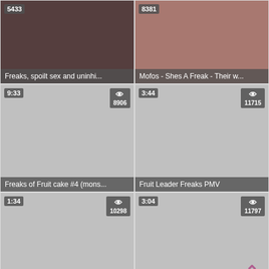[Figure (photo): Video thumbnail with duration 5433 and title 'Freaks, spoilt sex and uninhi...']
[Figure (photo): Video thumbnail with duration 8381 and title 'Mofos - Shes A Freak - Their w...']
[Figure (photo): Video thumbnail 9:33 duration, 8906 views, title 'Freaks of Fruit cake #4 (mons...']
[Figure (photo): Video thumbnail 3:44 duration, 11715 views, title 'Fruit Leader Freaks PMV']
[Figure (photo): Video thumbnail 1:34 duration, 10298 views, title 'she is a nasty junkie who lov...']
[Figure (photo): Video thumbnail 3:04 duration, 11797 views, title 'Freaks be required of Hierog...']